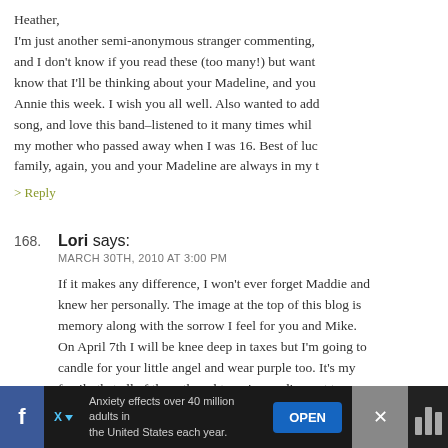Heather, I'm just another semi-anonymous stranger commenting, and I don't know if you read these (too many!) but wanted to know that I'll be thinking about your Madeline, and your Annie this week. I wish you all well. Also wanted to add this song, and love this band–listened to it many times while caring for my mother who passed away when I was 16. Best of luck to your family, again, you and your Madeline are always in my t...
> Reply
168. Lori says: MARCH 30TH, 2010 AT 3:00 PM
If it makes any difference, I won't ever forget Maddie and I never knew her personally. The image at the top of this blog is seared in my memory along with the sorrow I feel for you and Mike. On April 7th I will be knee deep in taxes but I'm going to light a candle for your little angel and wear purple too. It's my hope for your family that all of these thoughts we're sending out to yo...
Anxiety effects over 40 million adults in the United States each year.